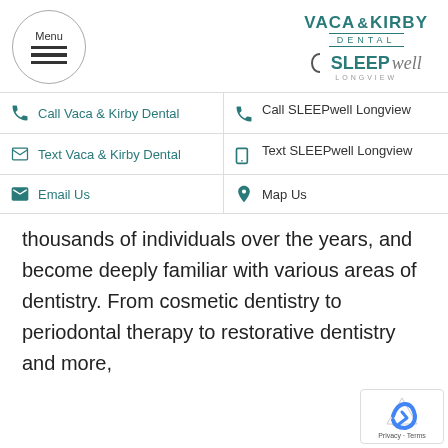[Figure (logo): Vaca & Kirby Dental logo with teal text and horizontal rules, and SLEEPwell Longview logo below]
| Call Vaca & Kirby Dental | Call SLEEPwell Longview |
| Text Vaca & Kirby Dental | Text SLEEPwell Longview |
| Email Us | Map Us |
thousands of individuals over the years, and become deeply familiar with various areas of dentistry. From cosmetic dentistry to periodontal therapy to restorative dentistry and more,